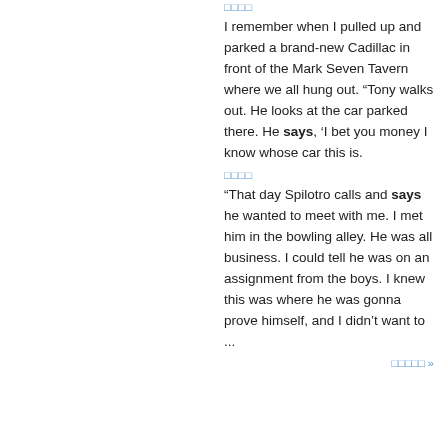□□□□
I remember when I pulled up and parked a brand-new Cadillac in front of the Mark Seven Tavern where we all hung out. “Tony walks out. He looks at the car parked there. He says, ‘I bet you money I know whose car this is.
□□□□
“That day Spilotro calls and says he wanted to meet with me. I met him in the bowling alley. He was all business. I could tell he was on an assignment from the boys. I knew this was where he was gonna prove himself, and I didn’t want to ...
□□□□□ »